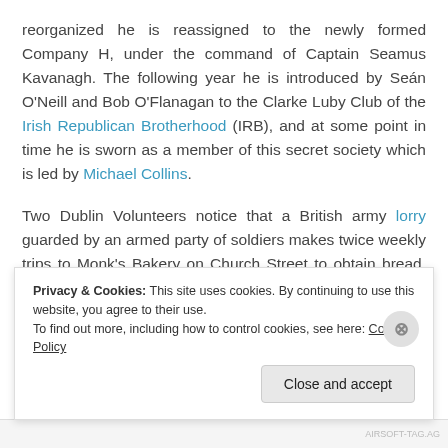reorganized he is reassigned to the newly formed Company H, under the command of Captain Seamus Kavanagh. The following year he is introduced by Seán O'Neill and Bob O'Flanagan to the Clarke Luby Club of the Irish Republican Brotherhood (IRB), and at some point in time he is sworn as a member of this secret society which is led by Michael Collins.
Two Dublin Volunteers notice that a British army lorry guarded by an armed party of soldiers makes twice weekly trips to Monk's Bakery on Church Street to obtain bread. Based on these observations, John Joe Carroll of Company H conducts a reconnaissance of the bakery. In addition to
Privacy & Cookies: This site uses cookies. By continuing to use this website, you agree to their use.
To find out more, including how to control cookies, see here: Cookie Policy